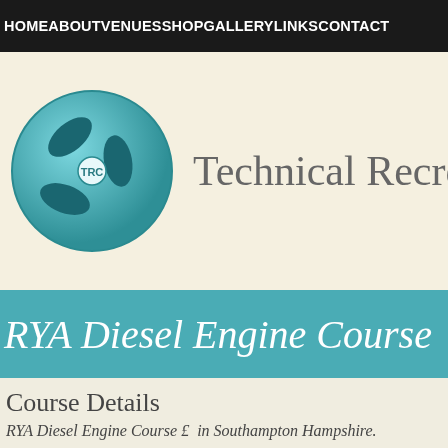HOME ABOUT VENUES SHOP GALLERY LINKS CONTACT
[Figure (logo): TRC logo: teal circular badge with a three-blade propeller icon and 'TRC' text in white]
Technical Recreati
RYA Diesel Engine Course
Course Details
RYA Diesel Engine Course £  in Southampton Hampshire.